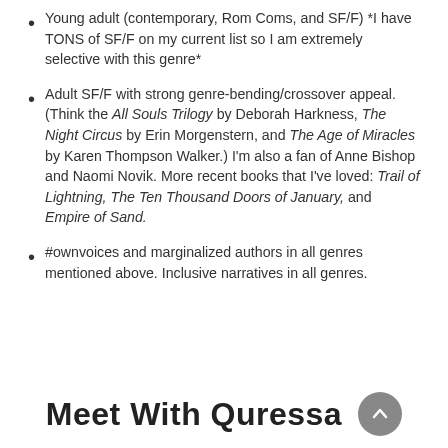Young adult (contemporary, Rom Coms, and SF/F) *I have TONS of SF/F on my current list so I am extremely selective with this genre*
Adult SF/F with strong genre-bending/crossover appeal. (Think the All Souls Trilogy by Deborah Harkness, The Night Circus by Erin Morgenstern, and The Age of Miracles by Karen Thompson Walker.) I'm also a fan of Anne Bishop and Naomi Novik. More recent books that I've loved: Trail of Lightning, The Ten Thousand Doors of January, and Empire of Sand.
#ownvoices and marginalized authors in all genres mentioned above. Inclusive narratives in all genres.
Meet With Quressa